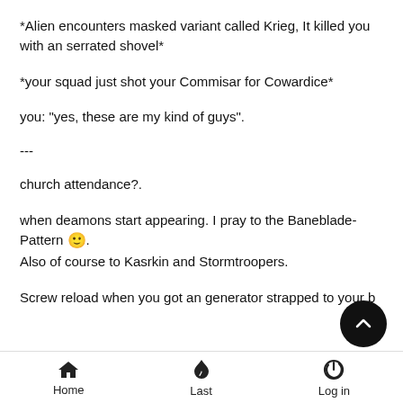*Alien encounters masked variant called Krieg, It killed you with an serrated shovel*
*your squad just shot your Commisar for Cowardice*
you: "yes, these are my kind of guys".
---
church attendance?.
when deamons start appearing. I pray to the Baneblade-Pattern 🙂.
Also of course to Kasrkin and Stormtroopers.
Screw reload when you got an generator strapped to your b
Home   Last   Log in